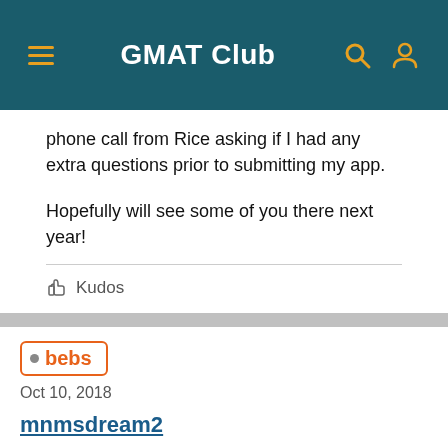GMAT Club
phone call from Rice asking if I had any extra questions prior to submitting my app.
Hopefully will see some of you there next year!
Kudos
bebs
Oct 10, 2018
mnmsdream2
Chinese retail giant SHEIN's clothes are cheap. Maybe it's because they use Xinjiang cotton processed by forced labor. How are they getting away with it?